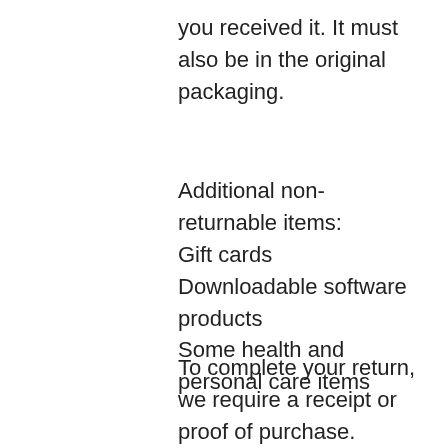you received it. It must also be in the original packaging.
Additional non-returnable items:
Gift cards
Downloadable software products
Some health and personal care items
To complete your return, we require a receipt or proof of purchase.
Please do not send your purchase back to the manufacturer.
There are certain situations where only partial refunds are granted (if applicable)
Books with obvious signs of use